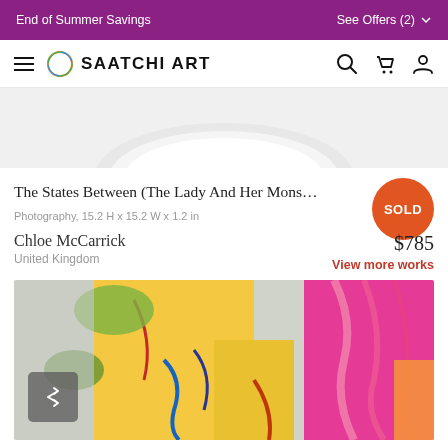End of Summer Savings | See Offers (2)
[Figure (logo): Saatchi Art logo with navigation icons]
[Figure (photo): Partial bottom edge of a framed photography artwork with white matting]
The States Between (The Lady And Her Mons…
Photography, 15.2 H x 15.2 W x 1.2 in
Chloe McCarrick
United Kingdom
SOLD
$785
View more works
[Figure (photo): Colorful abstract painting with bold brushstrokes in yellow, pink, blue, green, and red]